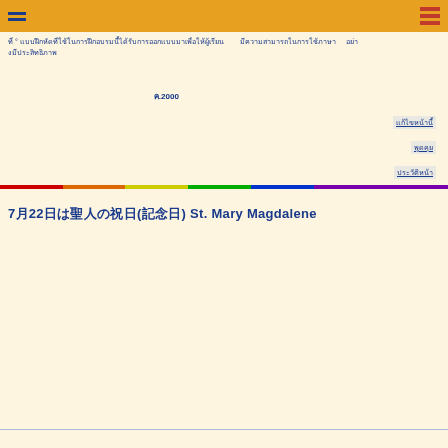☰
[Thai text paragraph 1 - body text with Japanese/Thai script characters]
[Thai text paragraph 2 - indented body text]
[Thai highlighted text with 2000 reference]
[Link items on right side - three underlined link items]
7月22日は聖人の祝日(記念日) St. Mary Magdalene
[Thai/Japanese body text paragraphs below section header]
[Bottom bar text in Thai/Japanese]